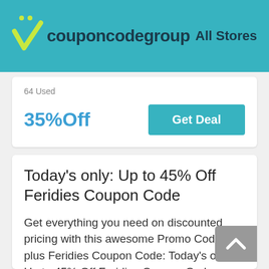couponcodegroup  All Stores
64 Used
35%Off
Get Deal
Today’s only: Up to 45% Off Feridies Coupon Code
Get everything you need on discounted pricing with this awesome Promo Code plus Feridies Coupon Code: Today’s only: Up to 45% Off Feridies Coupon Code. Please applying this offer at the